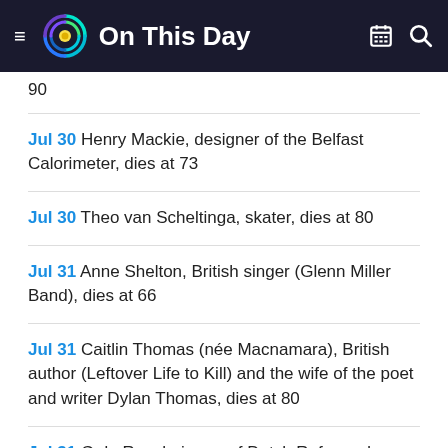On This Day
90
Jul 30 Henry Mackie, designer of the Belfast Calorimeter, dies at 73
Jul 30 Theo van Scheltinga, skater, dies at 80
Jul 31 Anne Shelton, British singer (Glenn Miller Band), dies at 66
Jul 31 Caitlin Thomas (née Macnamara), British author (Leftover Life to Kill) and the wife of the poet and writer Dylan Thomas, dies at 80
Jul 31 G de Ru, chairman of Dutch Reformed Synode, dies